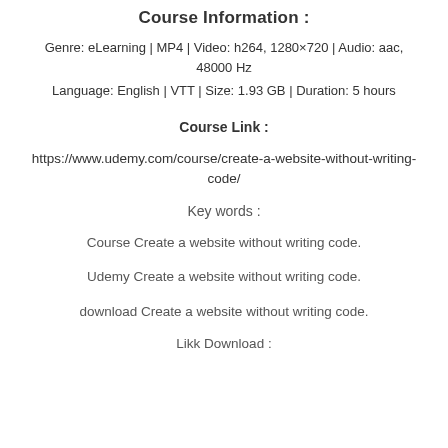Course Information :
Genre: eLearning | MP4 | Video: h264, 1280×720 | Audio: aac, 48000 Hz
Language: English | VTT | Size: 1.93 GB | Duration: 5 hours
Course Link :
https://www.udemy.com/course/create-a-website-without-writing-code/
Key words :
Course Create a website without writing code.
Udemy Create a website without writing code.
download Create a website without writing code.
Likk Download :